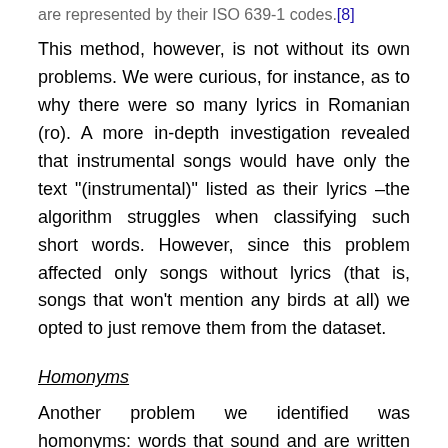are represented by their ISO 639-1 codes.[8]
This method, however, is not without its own problems. We were curious, for instance, as to why there were so many lyrics in Romanian (ro). A more in-depth investigation revealed that instrumental songs would have only the text "(instrumental)" listed as their lyrics –the algorithm struggles when classifying such short words. However, since this problem affected only songs without lyrics (that is, songs that won't mention any birds at all) we opted to just remove them from the dataset.
Homonyms
Another problem we identified was homonyms: words that sound and are written the same, but have different meanings depending on the context. Consider, for example, the following excerpts: